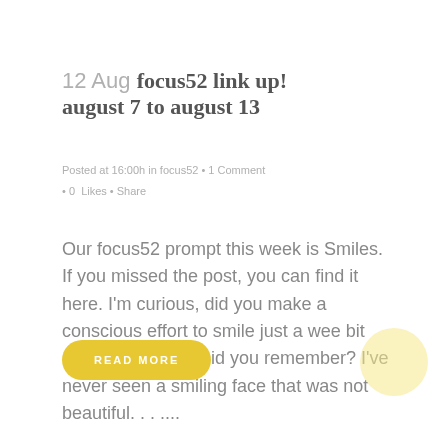12 Aug focus52 link up! august 7 to august 13
Posted at 16:00h in focus52 • 1 Comment • 0 Likes • Share
Our focus52 prompt this week is Smiles. If you missed the post, you can find it here. I'm curious, did you make a conscious effort to smile just a wee bit more this week? Did you remember? I've never seen a smiling face that was not beautiful. . . ....